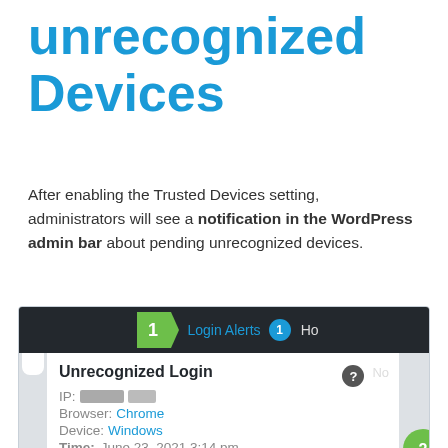unrecognized Devices
After enabling the Trusted Devices setting, administrators will see a notification in the WordPress admin bar about pending unrecognized devices.
[Figure (screenshot): WordPress admin bar dropdown showing 'Login Alerts' notification with numbered markers (1 and 2). Dropdown panel shows 'Unrecognized Login' with IP (redacted), Browser: Chrome, Device: Windows, Time: June 23, 2021 3:14 pm.]